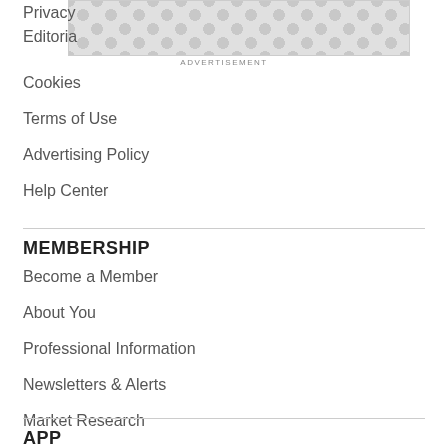[Figure (other): Advertisement placeholder with decorative dot pattern background]
ADVERTISEMENT
Privacy
Editorial
Cookies
Terms of Use
Advertising Policy
Help Center
MEMBERSHIP
Become a Member
About You
Professional Information
Newsletters & Alerts
Market Research
APP